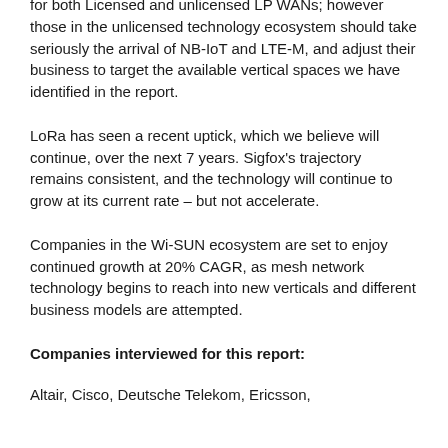for both Licensed and unlicensed LP WANs; however those in the unlicensed technology ecosystem should take seriously the arrival of NB-IoT and LTE-M, and adjust their business to target the available vertical spaces we have identified in the report.
LoRa has seen a recent uptick, which we believe will continue, over the next 7 years. Sigfox's trajectory remains consistent, and the technology will continue to grow at its current rate – but not accelerate.
Companies in the Wi-SUN ecosystem are set to enjoy continued growth at 20% CAGR, as mesh network technology begins to reach into new verticals and different business models are attempted.
Companies interviewed for this report:
Altair, Cisco, Deutsche Telekom, Ericsson,